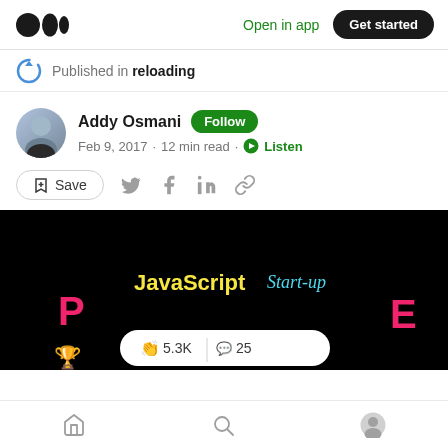Medium logo | Open in app | Get started
Published in reloading
Addy Osmani · Follow · Feb 9, 2017 · 12 min read · Listen
Save
[Figure (screenshot): Article hero image with black background showing 'JavaScript Start-up P...E' text in yellow, cyan, and pink colors. A clap/comment pill shows 5.3K claps and 25 comments.]
Home | Search | Profile navigation icons